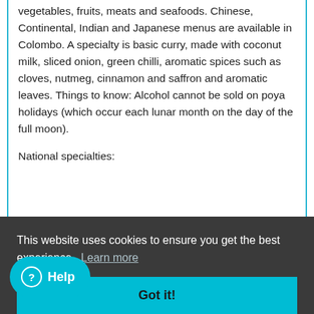vegetables, fruits, meats and seafoods. Chinese, Continental, Indian and Japanese menus are available in Colombo. A specialty is basic curry, made with coconut milk, sliced onion, green chilli, aromatic spices such as cloves, nutmeg, cinnamon and saffron and aromatic leaves. Things to know: Alcohol cannot be sold on poya holidays (which occur each lunar month on the day of the full moon).
National specialties:
sap of the kitul palm.
This website uses cookies to ensure you get the best experience.  Learn more
Got it!
Help